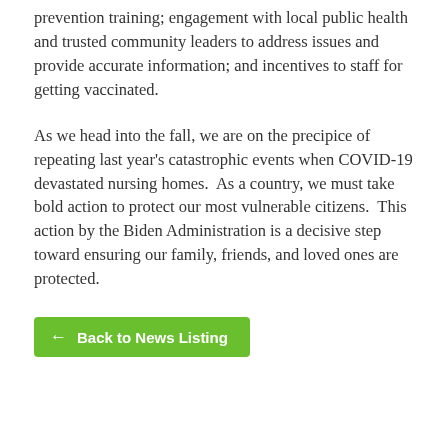prevention training; engagement with local public health and trusted community leaders to address issues and provide accurate information; and incentives to staff for getting vaccinated.
As we head into the fall, we are on the precipice of repeating last year’s catastrophic events when COVID-19 devastated nursing homes. As a country, we must take bold action to protect our most vulnerable citizens. This action by the Biden Administration is a decisive step toward ensuring our family, friends, and loved ones are protected.
← Back to News Listing